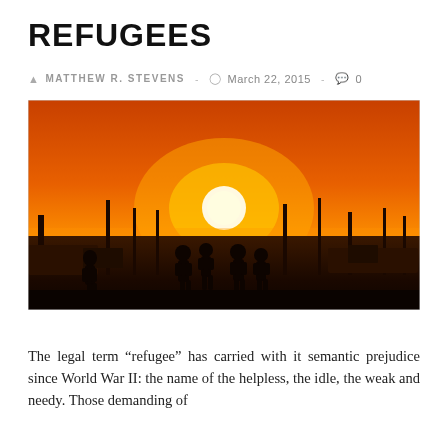REFUGEES
MATTHEW R. STEVENS - March 22, 2015 - 0
[Figure (photo): Silhouettes of people standing in a refugee camp at sunset, with a large orange sun on the horizon, tall poles/masts visible against the orange-amber sky, and scattered structures in the background.]
The legal term “refugee” has carried with it semantic prejudice since World War II: the name of the helpless, the idle, the weak and needy. Those demanding of